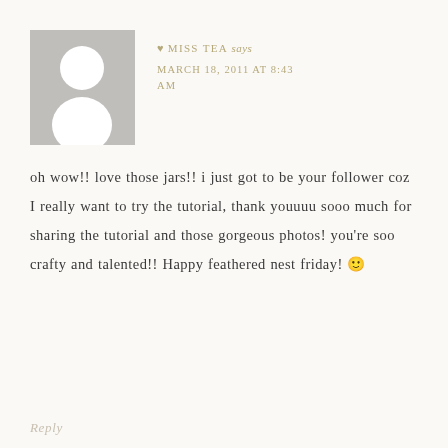[Figure (illustration): Generic user avatar placeholder: gray square with white silhouette of person (head circle and shoulders)]
♥ MISS TEA says
MARCH 18, 2011 AT 8:43 AM
oh wow!! love those jars!! i just got to be your follower coz I really want to try the tutorial, thank youuuu sooo much for sharing the tutorial and those gorgeous photos! you're soo crafty and talented!! Happy feathered nest friday! 🙂
Reply